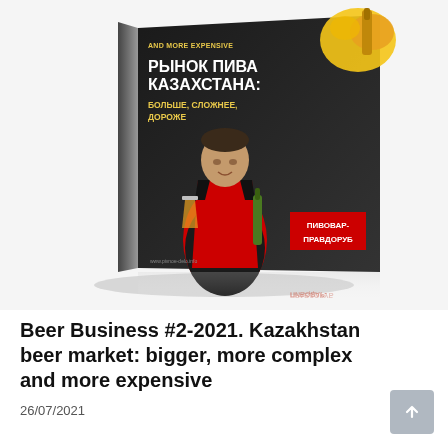[Figure (photo): A 3D rendered book cover tilted in perspective showing a magazine titled 'Beer Business #2-2021' about the Kazakhstan beer market. The cover features Cyrillic text 'РЫНОК ПИВА КАЗАХСТАНА: БОЛЬШЕ, СЛОЖНЕЕ, ДОРОЖЕ', a man in a red vest holding a beer glass and bottle, a beer splash in the top right corner, and a red badge reading 'ПИВОВАР-ПРАВДОРУБ'. A reflection of the cover appears below it on a light surface.]
Beer Business #2-2021. Kazakhstan beer market: bigger, more complex and more expensive
26/07/2021